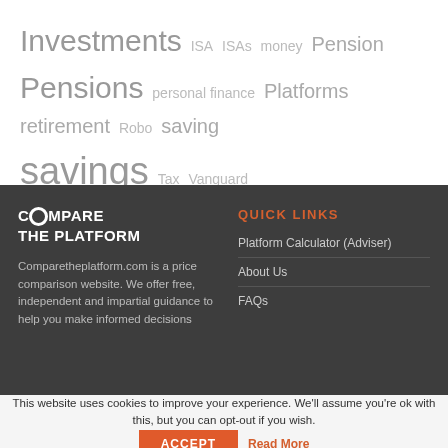Investments  ISA  ISAs  money  Pension  Pensions  personal finance  Platforms  retirement  Robo  saving  savings  Tax  Vanguard
[Figure (logo): Compare The Platform logo in white text on dark background]
Comparetheplatform.com is a price comparison website. We offer free, independent and impartial guidance to help you make informed decisions
QUICK LINKS
Platform Calculator (Adviser)
About Us
FAQs
This website uses cookies to improve your experience. We'll assume you're ok with this, but you can opt-out if you wish.
ACCEPT
Read More